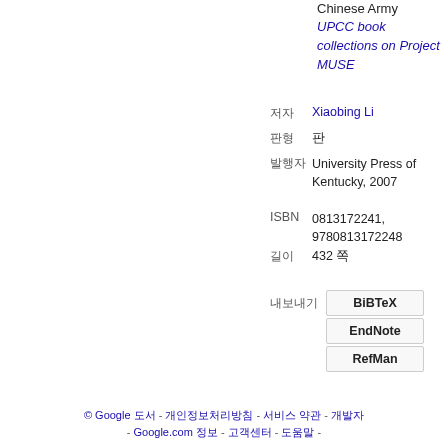Chinese Army
UPCC book collections on Project MUSE
저자  Xiaobing Li
판형  판
발행자  University Press of Kentucky, 2007
ISBN  0813172241, 9780813172248
길이  432 쪽
내보내기  BiBTeX  EndNote  RefMan
© Google 도서 - 개인정보처리방침 - 서비스 약관 - 개발자 - Google.com 정보 - 고객센터 - 도움말 -